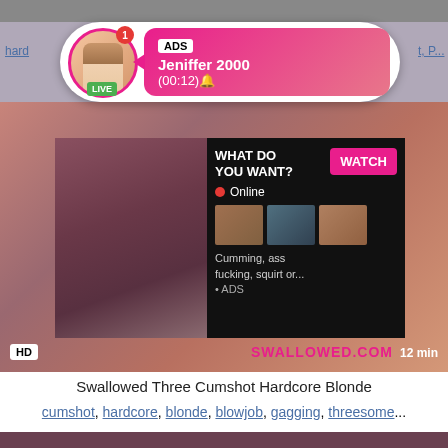[Figure (screenshot): Top image strip showing partial video content]
[Figure (screenshot): Notification popup overlay showing ADS label, name Jeniffer 2000, time (00:12), LIVE badge, avatar with notification badge, pink gradient background]
[Figure (screenshot): Main video thumbnail with ad overlay showing WHAT DO YOU WANT? text, WATCH button, Online indicator, thumbnail grid, and text Cumming, ass fucking, squirt or... ADS]
hard
t, P...
HD
SWALLOWED.COM
12 min
Swallowed Three Cumshot Hardcore Blonde
cumshot, hardcore, blonde, blowjob, gagging, threesome...
[Figure (screenshot): Bottom partial video image with dark tones]